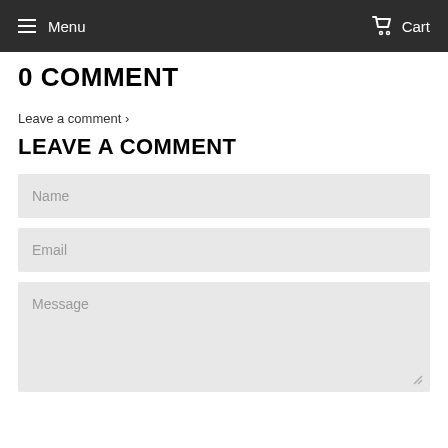Menu  Cart
0 COMMENT
Leave a comment ›
LEAVE A COMMENT
Name
Email
Message